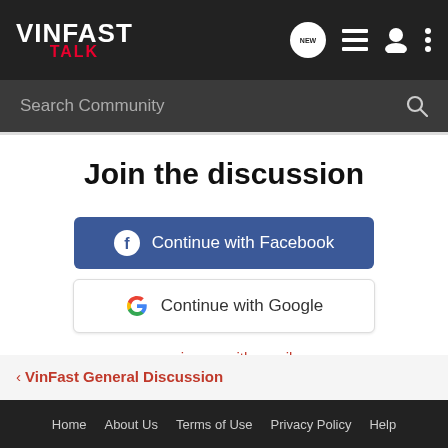VINFAST TALK
Search Community
Join the discussion
Continue with Facebook
Continue with Google
or sign up with email
< VinFast General Discussion
Home   About Us   Terms of Use   Privacy Policy   Help